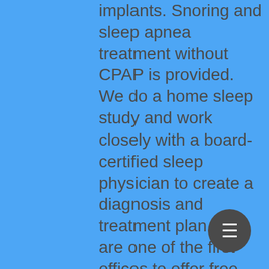implants. Snoring and sleep apnea treatment without CPAP is provided. We do a home sleep study and work closely with a board-certified sleep physician to create a diagnosis and treatment plan. We are one of the first offices to offer free virtual dental consultations, virtual dental consultations near me, and online free dental consultations. dental Many times a removable appliance is all that is needed to treat your snoring and sleep apnea. Surgery on Saturday is our latest attempt to make emergency dental visits, convenient and affordable. We provide surgery, a new program that addresses access, specialties and expanded services. we also offer Saturday, Sunday and evening dental appointments. We provide platelet-rich plasma (PRP) as a new approach in oral surgery. Dental use of PRP aids in wound healing and is useful in wisdom tooth extractions, dental implants, and bone grafts. We know that your comfort,